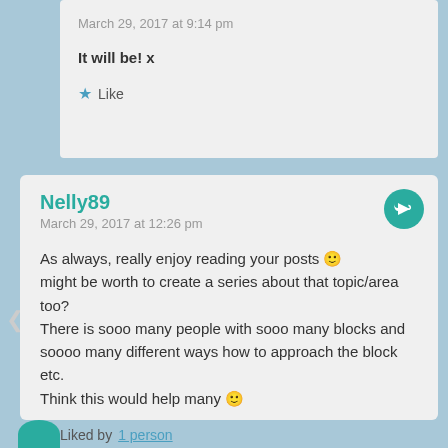March 29, 2017 at 9:14 pm
It will be! x
Like
Nelly89
March 29, 2017 at 12:26 pm
As always, really enjoy reading your posts 🙂 might be worth to create a series about that topic/area too?
There is sooo many people with sooo many blocks and soooo many different ways how to approach the block etc.
Think this would help many 🙂
Liked by 1 person